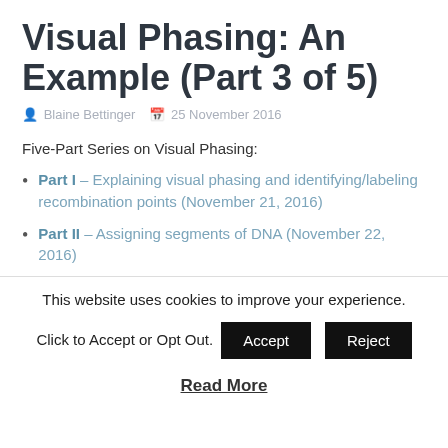Visual Phasing: An Example (Part 3 of 5)
Blaine Bettinger   25 November 2016
Five-Part Series on Visual Phasing:
Part I – Explaining visual phasing and identifying/labeling recombination points (November 21, 2016)
Part II – Assigning segments of DNA (November 22, 2016)
This website uses cookies to improve your experience.
Click to Accept or Opt Out.   Accept   Reject
Read More